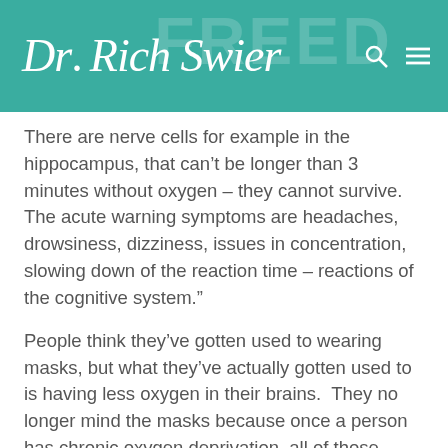Dr. Rich Swier
There are nerve cells for example in the hippocampus, that can't be longer than 3 minutes without oxygen – they cannot survive. The acute warning symptoms are headaches, drowsiness, dizziness, issues in concentration, slowing down of the reaction time – reactions of the cognitive system."
People think they've gotten used to wearing masks, but what they've actually gotten used to is having less oxygen in their brains.  They no longer mind the masks because once a person has chronic oxygen deprivation, all of those